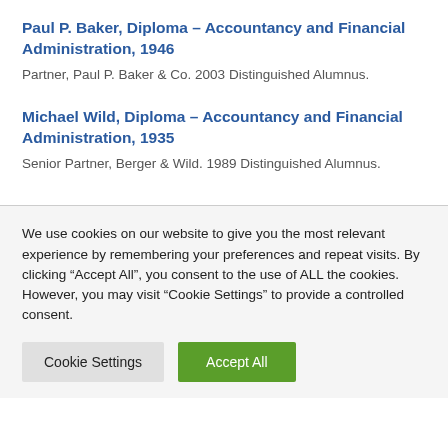Paul P. Baker, Diploma – Accountancy and Financial Administration, 1946
Partner, Paul P. Baker & Co. 2003 Distinguished Alumnus.
Michael Wild, Diploma – Accountancy and Financial Administration, 1935
Senior Partner, Berger & Wild. 1989 Distinguished Alumnus.
We use cookies on our website to give you the most relevant experience by remembering your preferences and repeat visits. By clicking "Accept All", you consent to the use of ALL the cookies. However, you may visit "Cookie Settings" to provide a controlled consent.